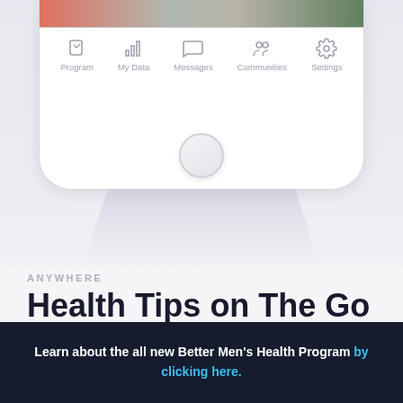[Figure (screenshot): Bottom portion of a smartphone mockup showing a navigation bar with icons: Program, My Data, Messages, Communities, Settings, and a home button below. The top shows a blurred food image strip. The phone has a white body with rounded bottom corners.]
ANYWHERE
Health Tips on The Go
Learn about the all new Better Men's Health Program by clicking here.